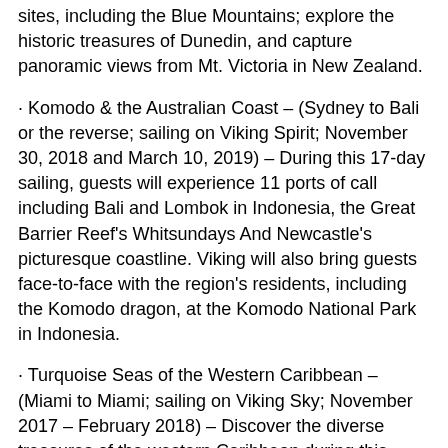sites, including the Blue Mountains; explore the historic treasures of Dunedin, and capture panoramic views from Mt. Victoria in New Zealand.
· Komodo & the Australian Coast – (Sydney to Bali or the reverse; sailing on Viking Spirit; November 30, 2018 and March 10, 2019) – During this 17-day sailing, guests will experience 11 ports of call including Bali and Lombok in Indonesia, the Great Barrier Reef's Whitsundays And Newcastle's picturesque coastline. Viking will also bring guests face-to-face with the region's residents, including the Komodo dragon, at the Komodo National Park in Indonesia.
· Turquoise Seas of the Western Caribbean – (Miami to Miami; sailing on Viking Sky; November 2017 – February 2018) – Discover the diverse treasures of the western Caribbean during this eight-day itinerary, from ancient ruins to colonial architecture. Guests will explore the mysterious temples of Altun Ha in Belize, harking back to the ancient Mayan Civilisation; walk in the steps of Hemingway's Key West haunts; and marvel at Cozumel's blue waters at Punta Sur. Sailing roundtrip from Miami, guests will visit three countries and five ports.